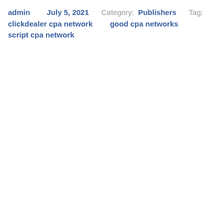admin   July 5, 2021   Category: Publishers   Tag:
clickdealer cpa network   good cpa networks   script cpa network